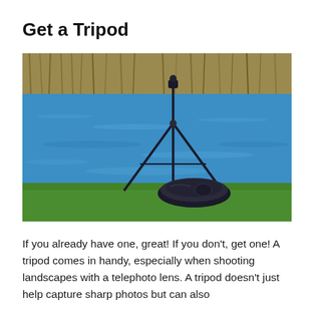Get a Tripod
[Figure (photo): A camera tripod standing on green grass beside a blue lake, with a camera bag on the ground next to it. Golden dried grass lines the far shore in the background.]
If you already have one, great! If you don't, get one! A tripod comes in handy, especially when shooting landscapes with a telephoto lens. A tripod doesn't just help capture sharp photos but can also